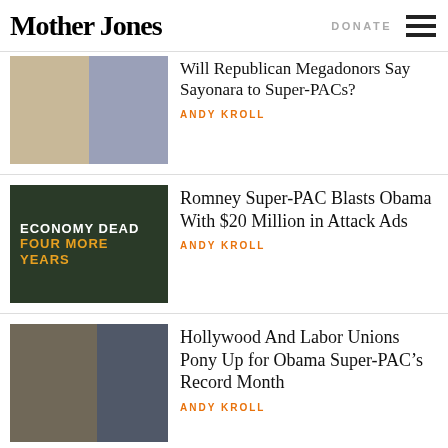Mother Jones | DONATE
[Figure (photo): Two men sitting side by side, partially cropped at top]
Will Republican Megadonors Say Sayonara to Super-PACs?
ANDY KROLL
[Figure (screenshot): Dark image with text: ECONOMY DEAD / FOUR MORE YEARS]
Romney Super-PAC Blasts Obama With $20 Million in Attack Ads
ANDY KROLL
[Figure (photo): Two men in a crowd, one with glasses and cap]
Hollywood And Labor Unions Pony Up for Obama Super-PAC’s Record Month
ANDY KROLL